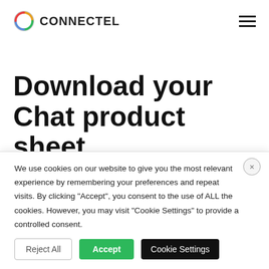CONNECTEL
Download your Chat product sheet
Read more and get a detailed description of the
We use cookies on our website to give you the most relevant experience by remembering your preferences and repeat visits. By clicking “Accept”, you consent to the use of ALL the cookies. However, you may visit "Cookie Settings" to provide a controlled consent.
Reject All | Accept | Cookie Settings